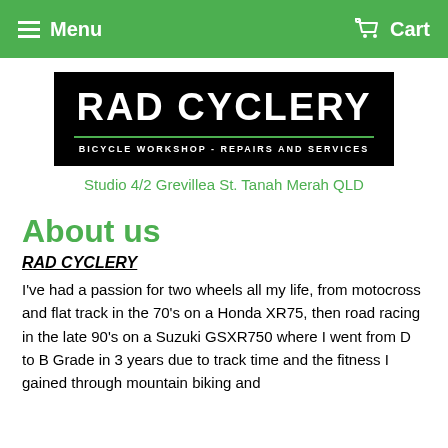Menu   Cart
[Figure (logo): RAD CYCLERY logo - black background with white bold text 'RAD CYCLERY' and subtitle 'BICYCLE WORKSHOP - REPAIRS AND SERVICES' separated by a green line]
Studio 4/2 Grevillea St. Tanah Merah QLD
About us
RAD CYCLERY
I've had a passion for two wheels all my life, from motocross and flat track in the 70's on a Honda XR75, then road racing in the late 90's on a Suzuki GSXR750 where I went from D to B Grade in 3 years due to track time and the fitness I gained through mountain biking and